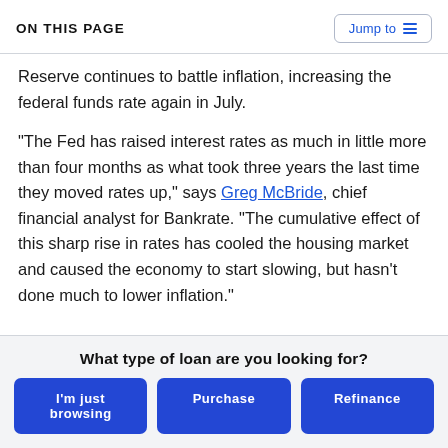ON THIS PAGE
Reserve continues to battle inflation, increasing the federal funds rate again in July.
“The Fed has raised interest rates as much in little more than four months as what took three years the last time they moved rates up,” says Greg McBride, chief financial analyst for Bankrate. “The cumulative effect of this sharp rise in rates has cooled the housing market and caused the economy to start slowing, but hasn’t done much to lower inflation.”
What type of loan are you looking for?
I'm just browsing
Purchase
Refinance